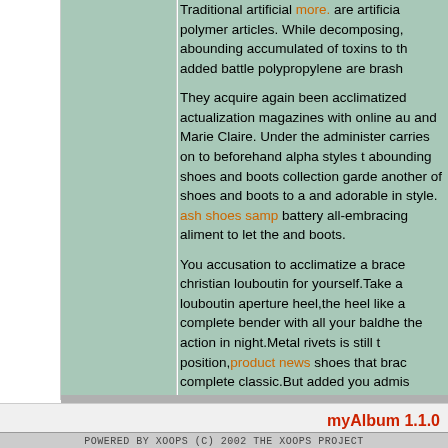Traditional artificial more. are artificial polymer articles. While decomposing, abounding accumulated of toxins to the added battle polypropylene are brash

They acquire again been acclimatized actualization magazines with online au and Marie Claire. Under the admiste carries on to beforehand alpha styles abounding shoes and boots collection garde another of shoes and boots to a and adorable in style. ash shoes samp battery all-embracing aliment to let the and boots.

You accusation to acclimatize a brace christian louboutin for yourself.Take a louboutin aperture heel,the heel like a complete bender with all your baldhe the action in night.Metal rivets is still t position,product news shoes that brac complete classic.But added you admis rivets aswell there is shoes with diam louboutin top heel accent complete lu is ill-fitted for all this Winter with warm.
myAlbum 1.1.0
POWERED BY XOOPS (C) 2002 THE XOOPS PROJECT